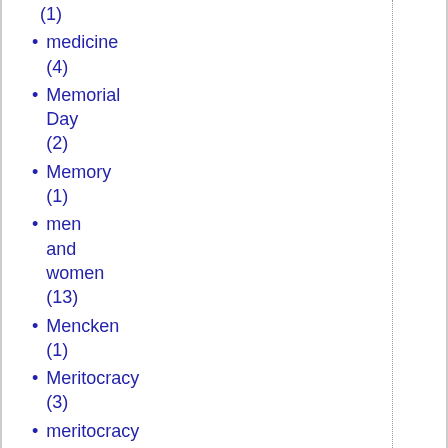(1)
medicine (4)
Memorial Day (2)
Memory (1)
men and women (13)
Mencken (1)
Meritocracy (3)
meritocracy (1)
metaphysics (2)
Mexican Consulate San Diego (1)